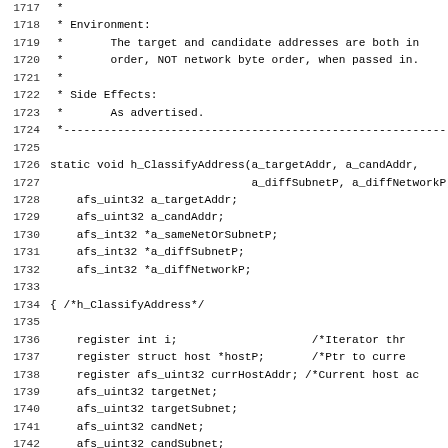Source code listing lines 1717-1748 showing h_ClassifyAddress function definition in C